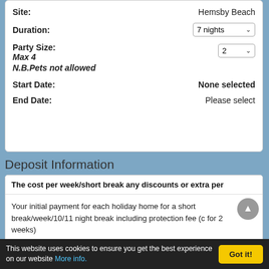Site: Hemsby Beach
Duration: 7 nights
Party Size: 2
Max 4
N.B.Pets not allowed
Start Date: None selected
End Date: Please select
Deposit Information
The cost per week/short break any discounts or extra per
Your initial payment for each holiday home for a short break/week/10/11 night break including protection fee (c for 2 weeks)
This website uses cookies to ensure you get the best experience on our website More info.